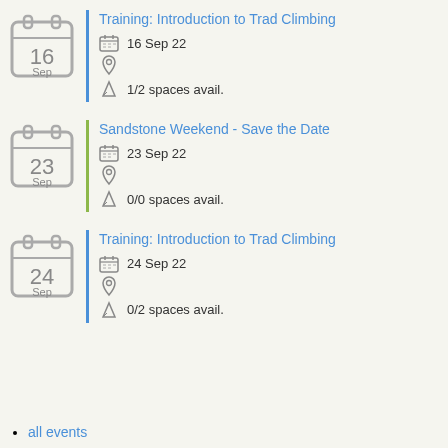Training: Introduction to Trad Climbing — 16 Sep 22 — 1/2 spaces avail.
Sandstone Weekend - Save the Date — 23 Sep 22 — 0/0 spaces avail.
Training: Introduction to Trad Climbing — 24 Sep 22 — 0/2 spaces avail.
all events